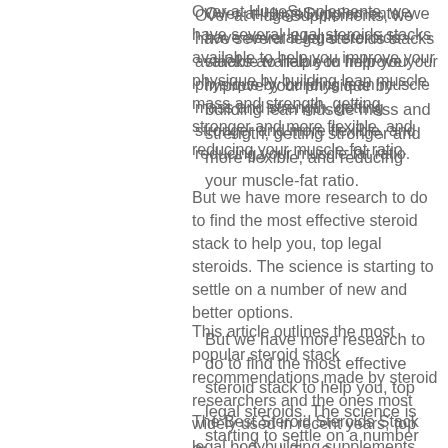Over at HugeSupplements, we have several legal steroids stacks available to help you improve your physique by building lean muscle mass and strength, getting stronger and more flexible, and reducing your muscle-fat ratio.
But we have more research to do to find the most effective steroid stack to help you, top legal steroids. The science is starting to settle on a number of new and better options.
This article outlines the most popular steroid stack recommendations made by steroid researchers and the ones most widely used in recent years, top legal bodybuilding supplements.
The Best Steroid Steroids Stack
Steroid Stack Top 3